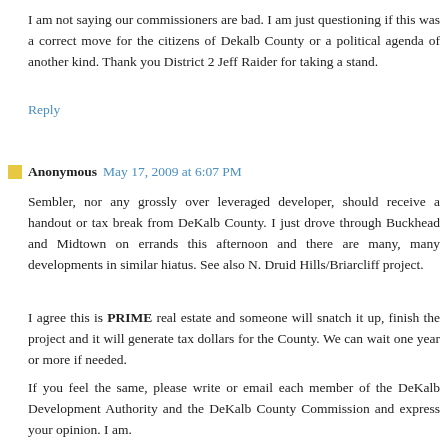I am not saying our commissioners are bad. I am just questioning if this was a correct move for the citizens of Dekalb County or a political agenda of another kind. Thank you District 2 Jeff Raider for taking a stand.
Reply
Anonymous May 17, 2009 at 6:07 PM
Sembler, nor any grossly over leveraged developer, should receive a handout or tax break from DeKalb County. I just drove through Buckhead and Midtown on errands this afternoon and there are many, many developments in similar hiatus. See also N. Druid Hills/Briarcliff project.
I agree this is PRIME real estate and someone will snatch it up, finish the project and it will generate tax dollars for the County. We can wait one year or more if needed.
If you feel the same, please write or email each member of the DeKalb Development Authority and the DeKalb County Commission and express your opinion. I am.